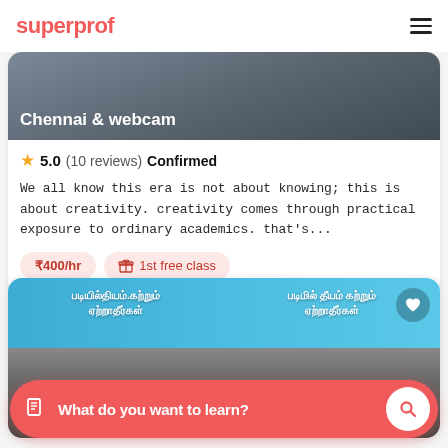superprof
Chennai & webcam
5.0 (10 reviews) Confirmed
We all know this era is not about knowing; this is about creativity. creativity comes through practical exposure to ordinary academics. that's...
₹400/hr
1st free class
[Figure (photo): Photo of a tutor in front of a blue billboard with Tamil text]
What do you want to learn?